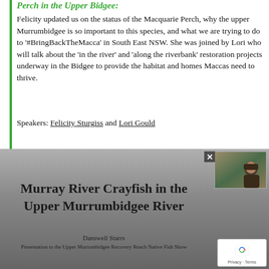Perch in the Upper Bidgee:
Felicity updated us on the status of the Macquarie Perch, why the upper Murrumbidgee is so important to this species, and what we are trying to do to '#BringBackTheMacca' in South East NSW. She was joined by Lori who will talk about the 'in the river' and 'along the riverbank' restoration projects underway in the Bidgee to provide the habitat and homes Maccas need to thrive.
Speakers: Felicity Sturgiss and Lori Gould
[Figure (screenshot): Screenshot of a presentation slide titled 'Murray River Crayfish in the Upper Murrumbidgee River' by Danswell Starrs, presented to the Upper Murrumbidgee Recovery Reach Native Fish Show. A small video thumbnail of a person appears in the top right corner of the slide, along with a reCAPTCHA privacy badge in the bottom right.]